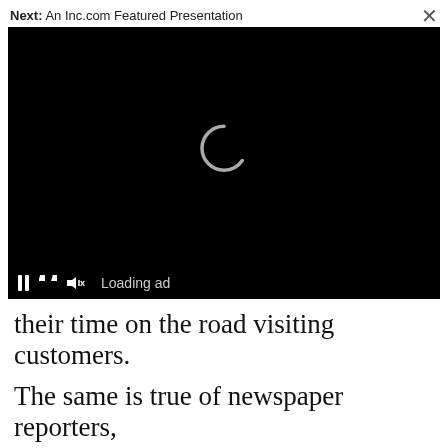Next: An Inc.com Featured Presentation
[Figure (screenshot): Black video player with loading spinner and controls showing pause, expand, mute buttons and 'Loading ad' text]
their time on the road visiting customers.
The same is true of newspaper reporters,
another possibly more relevant example that
Gim
[Figure (screenshot): Inc.com Best in Business advertisement banner with 'Early Rate Ends 8/' text and 'Apply Now' button]